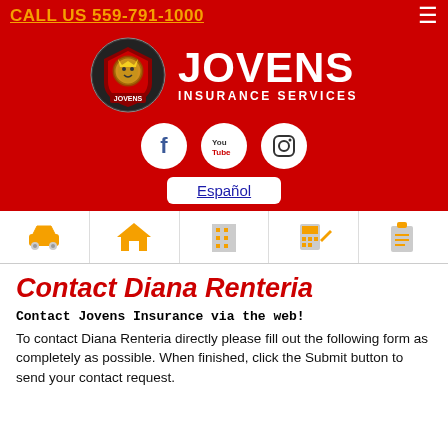CALL US 559-791-1000
[Figure (logo): Jovens Insurance Services logo with lion shield and brand name]
[Figure (infographic): Social media icons: Facebook, YouTube, Instagram]
Español
[Figure (infographic): Navigation icon row: auto, home, commercial, tax, SR22]
Contact Diana Renteria
Contact Jovens Insurance via the web!
To contact Diana Renteria directly please fill out the following form as completely as possible. When finished, click the Submit button to send your contact request.